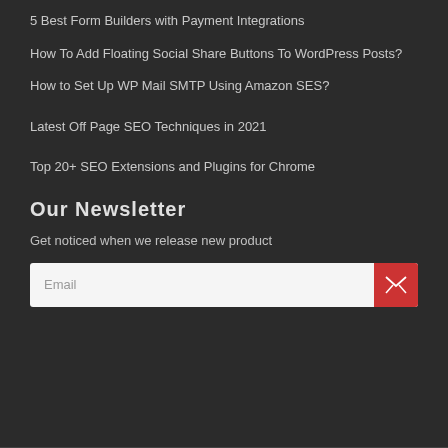5 Best Form Builders with Payment Integrations
How To Add Floating Social Share Buttons To WordPress Posts?
How to Set Up WP Mail SMTP Using Amazon SES?
Latest Off Page SEO Techniques in 2021
Top 20+ SEO Extensions and Plugins for Chrome
Our Newsletter
Get noticed when we release new product
Email